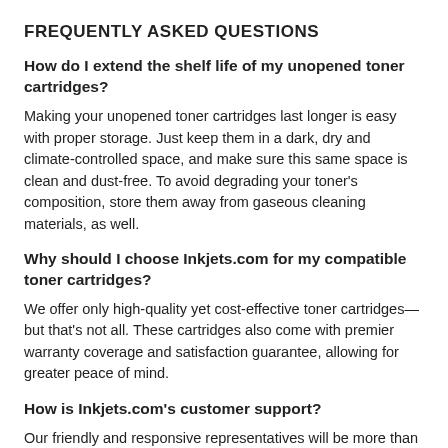FREQUENTLY ASKED QUESTIONS
How do I extend the shelf life of my unopened toner cartridges?
Making your unopened toner cartridges last longer is easy with proper storage. Just keep them in a dark, dry and climate-controlled space, and make sure this same space is clean and dust-free. To avoid degrading your toner's composition, store them away from gaseous cleaning materials, as well.
Why should I choose Inkjets.com for my compatible toner cartridges?
We offer only high-quality yet cost-effective toner cartridges—but that's not all. These cartridges also come with premier warranty coverage and satisfaction guarantee, allowing for greater peace of mind.
How is Inkjets.com's customer support?
Our friendly and responsive representatives will be more than happy to assist you with the necessary solutions should you have any concerns or questions. Don't hesitate to reach out.